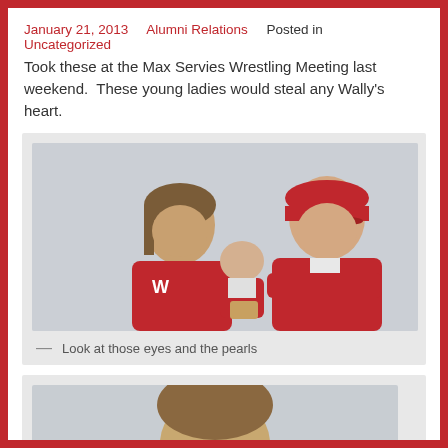January 21, 2013   Alumni Relations   Posted in
Uncategorized
Took these at the Max Servies Wrestling Meeting last weekend.  These young ladies would steal any Wally's heart.
[Figure (photo): A woman in a red Wally's t-shirt holding a baby in a red outfit, seated next to a man in a red sweatshirt and red W cap, against a white brick wall.]
— Look at those eyes and the pearls
[Figure (photo): Partial view of another photo, showing the top of someone's head, cropped at the bottom of the page.]